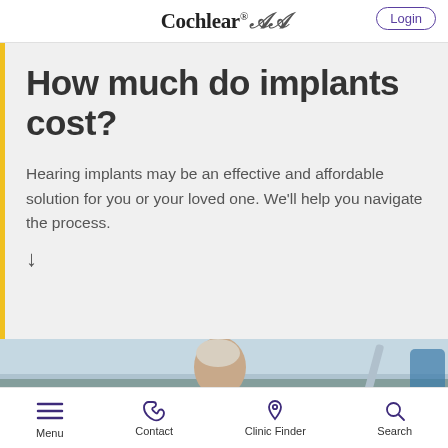Cochlear® | Login
How much do implants cost?
Hearing implants may be an effective and affordable solution for you or your loved one. We'll help you navigate the process.
[Figure (photo): Elderly man outdoors near what appears to be a boat or aircraft propeller, sky in background]
Menu | Contact | Clinic Finder | Search